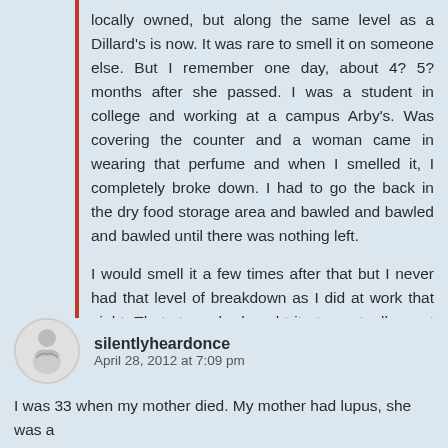locally owned, but along the same level as a Dillard's is now. It was rare to smell it on someone else. But I remember one day, about 4? 5? months after she passed. I was a student in college and working at a campus Arby's. Was covering the counter and a woman came in wearing that perfume and when I smelled it, I completely broke down. I had to go the back in the dry food storage area and bawled and bawled and bawled until there was nothing left.

I would smell it a few times after that but I never had that level of breakdown as I did at work that night. That store she bought it at eventually went out of business not too long after that thus taking that perfume with it.
👍 0 👎 0 ℹ Rate This
silentlyheardonce
April 28, 2012 at 7:09 pm
I was 33 when my mother died. My mother had lupus, she was a